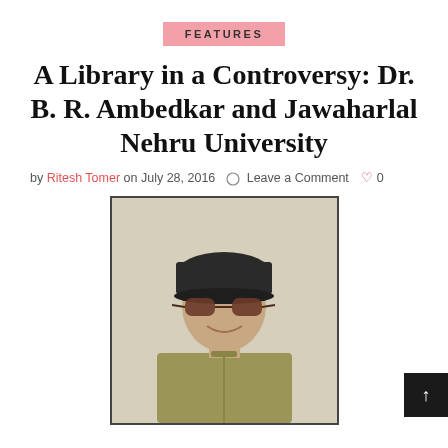FEATURES
A Library in a Controversy: Dr. B. R. Ambedkar and Jawaharlal Nehru University
by Ritesh Tomer on July 28, 2016  Leave a Comment  0
[Figure (photo): Portrait photo of a young man wearing a dark cap/hat and sunglasses, smiling, wearing a light olive/tan colored kurta shirt]